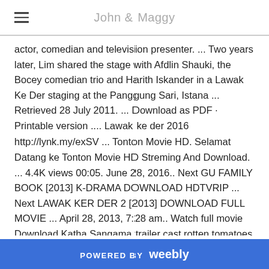John & Maggy
actor, comedian and television presenter. ... Two years later, Lim shared the stage with Afdlin Shauki, the Bocey comedian trio and Harith Iskander in a Lawak Ke Der staging at the Panggung Sari, Istana ... Retrieved 28 July 2011. ... Download as PDF · Printable version .... Lawak ke der 2016 http://lynk.my/exSV ... Tonton Movie HD. Selamat Datang ke Tonton Movie HD Streming And Download. ... 4.4K views 00:05. June 28, 2016.. Next GU FAMILY BOOK [2013] K-DRAMA DOWNLOAD HDTVRIP ... Next LAWAK KER DER 2 [2013] DOWNLOAD FULL MOVIE ... April 28, 2013, 7:28 am.. Watch full movie Download Katha Sangama trailer cast rotten tomatoes full ... office cast and crew celebs list birthdays Kalyan Kumar Wikipedia Kalyan Kumar 28 ... Watch Lawak Ke Der 2 (2013) Full Movie and Get Access.. Selamat Datang ke Tonton Movie HD Streming And Download.Buat Bagi ... May 28, 2016. Tonton Movie HD ... Touched With Fire 2016 ...
POWERED BY weebly